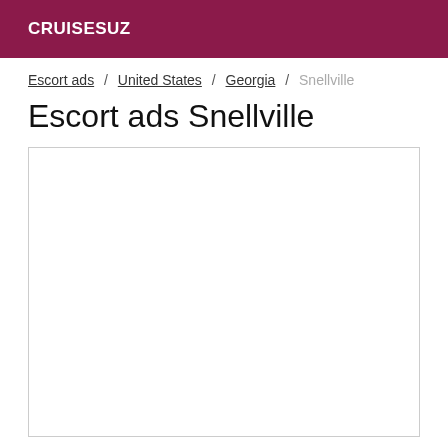CRUISESUZ
Escort ads / United States / Georgia / Snellville
Escort ads Snellville
[Figure (other): Empty white content box with border]